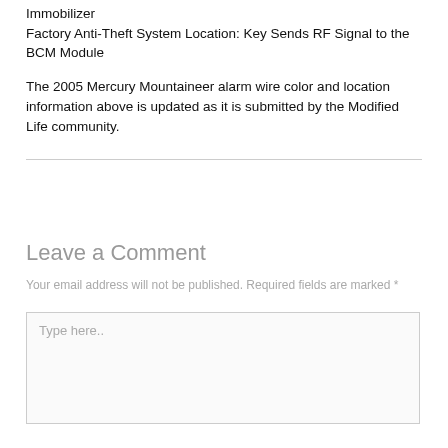Immobilizer
Factory Anti-Theft System Location: Key Sends RF Signal to the BCM Module
The 2005 Mercury Mountaineer alarm wire color and location information above is updated as it is submitted by the Modified Life community.
Leave a Comment
Your email address will not be published. Required fields are marked *
Type here..